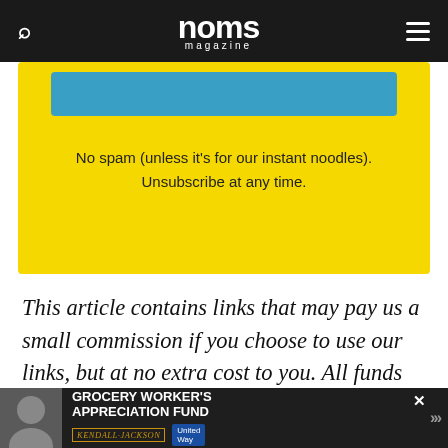noms magazine
No spam (unless it's for our instant noodles). Unsubscribe at any time.
This article contains links that may pay us a small commission if you choose to use our links, but at no extra cost to you. All funds will be used to support our team and to create more content for you.
[Figure (screenshot): Advertisement banner: GROCERY WORKER'S APPRECIATION FUND with Kendall-Jackson and United Way logos]